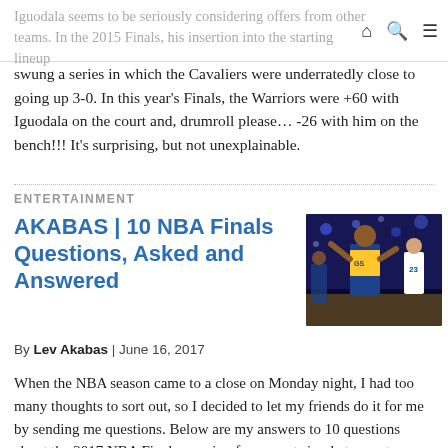Home | Search | Menu
Iguodala seems to be seriously considering offers from other teams. In the 2015 Finals, his insertion into the starting lineup swung a series in which the Cavaliers were underratedly close to going up 3-0. In this year's Finals, the Warriors were +60 with Iguodala on the court and, drumroll please… -26 with him on the bench!!! It's surprising, but not unexplainable.
ENTERTAINMENT
AKABAS | 10 NBA Finals Questions, Asked and Answered
[Figure (photo): Basketball player in Golden State Warriors jersey celebrating on the court, with player wearing jersey number 23 visible in background]
By Lev Akabas | June 16, 2017
When the NBA season came to a close on Monday night, I had too many thoughts to sort out, so I decided to let my friends do it for me by sending me questions. Below are my answers to 10 questions about the 2017 NBA Finals, ranging from most simple to most complex. Very Simple Questions